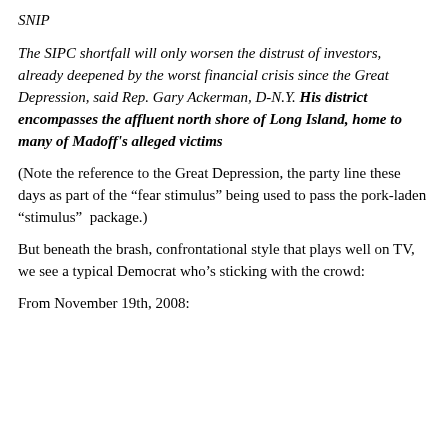SNIP
The SIPC shortfall will only worsen the distrust of investors, already deepened by the worst financial crisis since the Great Depression, said Rep. Gary Ackerman, D-N.Y. His district encompasses the affluent north shore of Long Island, home to many of Madoff’s alleged victims
(Note the reference to the Great Depression, the party line these days as part of the “fear stimulus” being used to pass the pork-laden “stimulus”  package.)
But beneath the brash, confrontational style that plays well on TV, we see a typical Democrat who’s sticking with the crowd:
From November 19th, 2008: